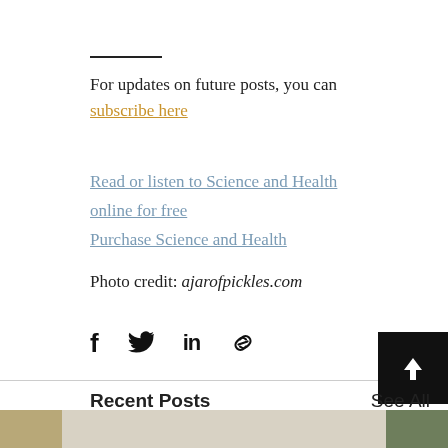For updates on future posts, you can subscribe here
Read or listen to Science and Health online for free
Purchase Science and Health
Photo credit: ajarofpickles.com
[Figure (infographic): Social share icons: Facebook, Twitter, LinkedIn, link/chain icon, and a back-to-top black button with upward arrow]
Recent Posts
See All
[Figure (photo): Thumbnail images at the bottom of the page]